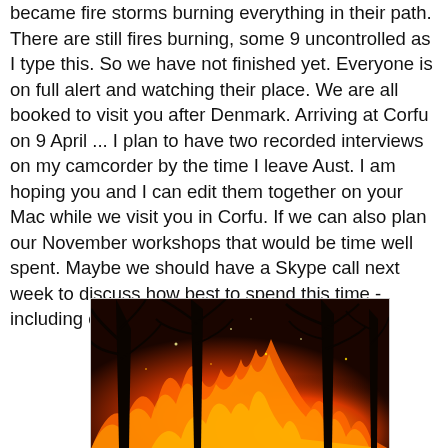became fire storms burning everything in their path. There are still fires burning, some 9 uncontrolled as I type this. So we have not finished yet. Everyone is on full alert and watching their place. We are all booked to visit you after Denmark. Arriving at Corfu on 9 April ... I plan to have two recorded interviews on my camcorder by the time I leave Aust. I am hoping you and I can edit them together on your Mac while we visit you in Corfu. If we can also plan our November workshops that would be time well spent. Maybe we should have a Skype call next week to discuss how best to spend this time - including celebrating Easter? Regards, John
[Figure (photo): A nighttime or dusk photograph of trees silhouetted against intense orange and red fire flames, bushfire scene with glowing embers and burning vegetation.]